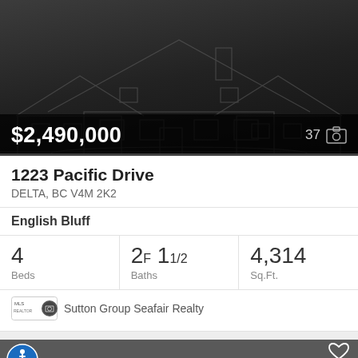[Figure (photo): Dark background house exterior photo with outline illustration of a large two-storey house]
$2,490,000
37
1223 Pacific Drive
DELTA, BC V4M 2K2
English Bluff
4 Beds
2F 11/2 Baths
4,314 Sq.Ft.
Sutton Group Seafair Realty
[Figure (photo): Dark grey background with house outline illustration, accessibility icon (wheelchair symbol in blue circle), heart/favorite icon in white, and partially visible text 'Loading Photo']